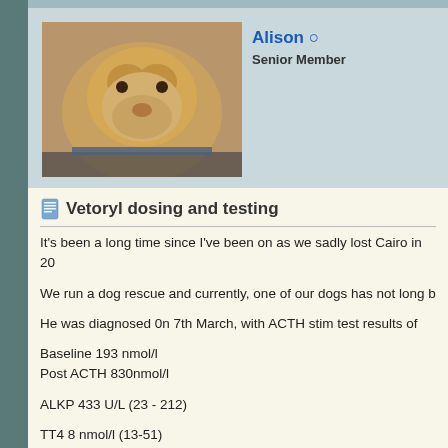[Figure (photo): Profile photo of a golden/yellow Labrador dog resting]
Alison ○
Senior Member
Vetoryl dosing and testing
It's been a long time since I've been on as we sadly lost Cairo in 20
We run a dog rescue and currently, one of our dogs has not long b
He was diagnosed 0n 7th March, with ACTH stim test results of
Baseline 193 nmol/l
Post ACTH 830nmol/l
ALKP 433 U/L (23 - 212)
TT4 8 nmol/l (13-51)
He weighs 32kg and was started on 60mg vetoryl once a day.
It would appeat that the testing has now changed from when we ha stim test 4-6 post meds, they are now doing Pre-Cortisol monitoring prior to him receiving his vetoryl.
His first test on 22nd March after treatment of 60mg started was